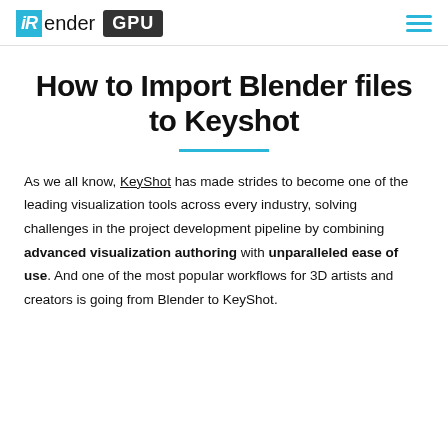iRender GPU
How to Import Blender files to Keyshot
As we all know, KeyShot has made strides to become one of the leading visualization tools across every industry, solving challenges in the project development pipeline by combining advanced visualization authoring with unparalleled ease of use. And one of the most popular workflows for 3D artists and creators is going from Blender to KeyShot.